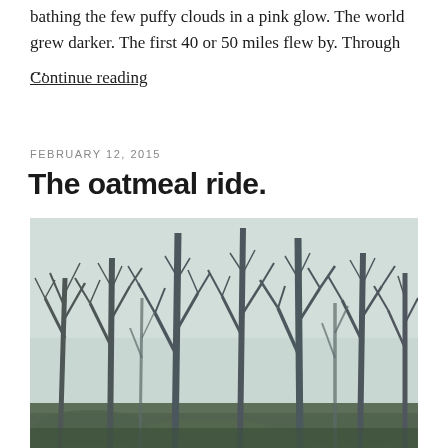bathing the few puffy clouds in a pink glow. The world grew darker. The first 40 or 50 miles flew by. Through …
Continue reading
FEBRUARY 12, 2015
The oatmeal ride.
[Figure (photo): A photograph of bare winter trees in a forest, with sparse foliage on the ground and a pale sky. The image has a cool, muted tone.]